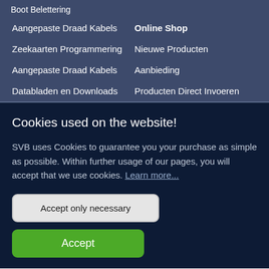Boot Belettering
Aangepaste Draad Kabels
Online Shop
Zeekaarten Programmering
Nieuwe Producten
Aangepaste Draad Kabels
Aanbieding
Databladen en Downloads
Producten Direct Invoeren
Cookies used on the website!
SVB uses Cookies to guarantee you your purchase as simple as possible. Within further usage of our pages, you will accept that we use cookies. Learn more...
Accept only necessary
Accept